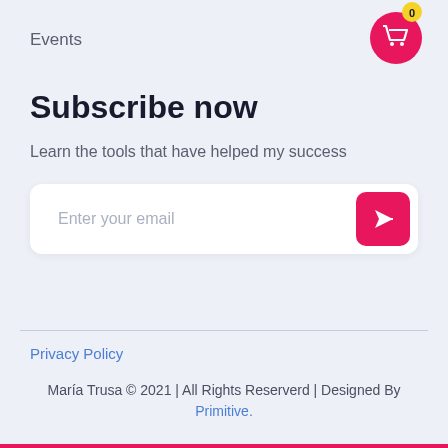Events
[Figure (illustration): Pink circular cart icon with yellow badge showing '0']
Subscribe now
Learn the tools that have helped my success
[Figure (screenshot): Email input field with placeholder 'Enter your email' and a pink send button with paper plane icon]
Privacy Policy
María Trusa © 2021 | All Rights Reserverd | Designed By Primitive.